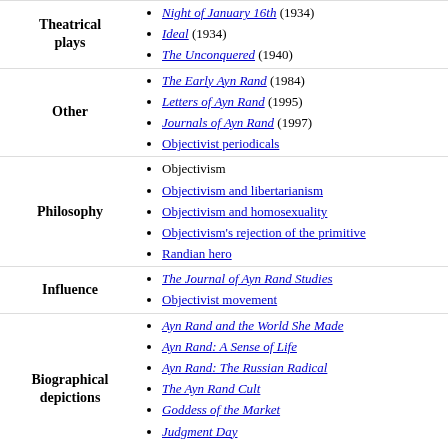Theatrical plays
Night of January 16th (1934)
Ideal (1934)
The Unconquered (1940)
Other
The Early Ayn Rand (1984)
Letters of Ayn Rand (1995)
Journals of Ayn Rand (1997)
Objectivist periodicals
Philosophy
Objectivism
Objectivism and libertarianism
Objectivism and homosexuality
Objectivism's rejection of the primitive
Randian hero
Influence
The Journal of Ayn Rand Studies
Objectivist movement
Biographical depictions
Ayn Rand and the World She Made
Ayn Rand: A Sense of Life
Ayn Rand: The Russian Radical
The Ayn Rand Cult
Goddess of the Market
Judgment Day
The Passion of Ayn Rand (book)